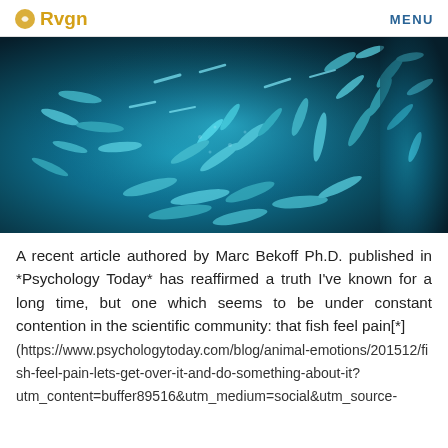Rvgn   MENU
[Figure (photo): Underwater photograph of a large school of fish forming a swirling pattern against a deep blue ocean background]
A recent article authored by Marc Bekoff Ph.D. published in *Psychology Today* has reaffirmed a truth I’ve known for a long time, but one which seems to be under constant contention in the scientific community: that fish feel pain[*](https://www.psychologytoday.com/blog/animal-emotions/201512/fish-feel-pain-lets-get-over-it-and-do-something-about-it?utm_content=buffer89516&utm_medium=social&utm_source-